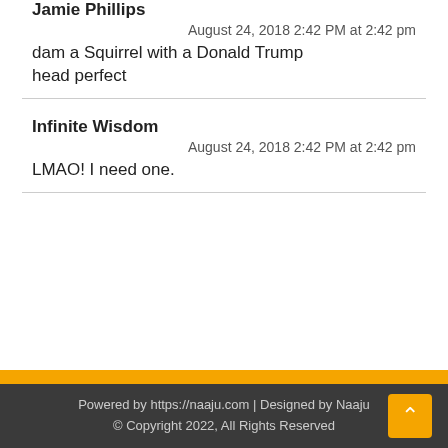Jamie Phillips
August 24, 2018 2:42 PM at 2:42 pm
dam a Squirrel with a Donald Trump head perfect
Infinite Wisdom
August 24, 2018 2:42 PM at 2:42 pm
LMAO! I need one.
Powered by https://naaju.com | Designed by Naaju
© Copyright 2022, All Rights Reserved